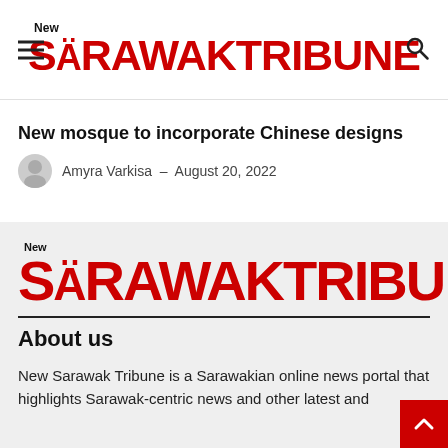New Sarawak Tribune
New mosque to incorporate Chinese designs
Amyra Varkisa - August 20, 2022
[Figure (logo): New Sarawak Tribune logo in red and black on gray background]
About us
New Sarawak Tribune is a Sarawakian online news portal that highlights Sarawak-centric news and other latest and